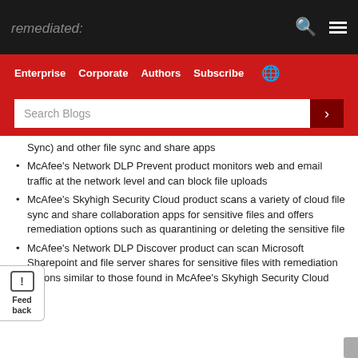remediated:
[Figure (screenshot): Website navigation header with black top bar showing search and menu icons, red navigation bar with Enterprise, Corporate, Authors, Subscribe, and globe icon links, and a red search bar with 'Search Blogs' placeholder and search button]
Sync) and other file sync and share apps
McAfee's Network DLP Prevent product monitors web and email traffic at the network level and can block file uploads
McAfee's Skyhigh Security Cloud product scans a variety of cloud file sync and share collaboration apps for sensitive files and offers remediation options such as quarantining or deleting the sensitive file
McAfee's Network DLP Discover product can scan Microsoft Sharepoint and file server shares for sensitive files with remediation options similar to those found in McAfee's Skyhigh Security Cloud